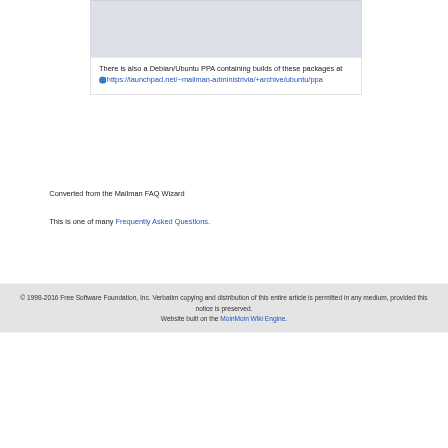There is also a Debian/Ubuntu PPA containing builds of these packages at https://launchpad.net/~mailman-administrivia/+archive/ubuntu/ppa
Converted from the Mailman FAQ Wizard
This is one of many Frequently Asked Questions.
© 1998-2016 Free Software Foundation, Inc. Verbatim copying and distribution of this entire article is permitted in any medium, provided this notice is preserved. Website built on the MoinMoin Wiki Engine.